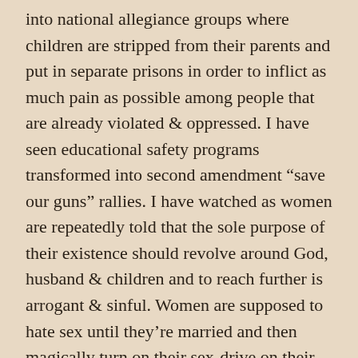into national allegiance groups where children are stripped from their parents and put in separate prisons in order to inflict as much pain as possible among people that are already violated & oppressed. I have seen educational safety programs transformed into second amendment “save our guns” rallies. I have watched as women are repeatedly told that the sole purpose of their existence should revolve around God, husband & children and to reach further is arrogant & sinful. Women are supposed to hate sex until they’re married and then magically turn on their sex-drive on their wedding night. I have watched as women are forced to have baby after baby after baby because of manipulated bible verses that condemn family planning and birth control so that women can continue to remain part of the subservient class within the church. With horror, I watched as a